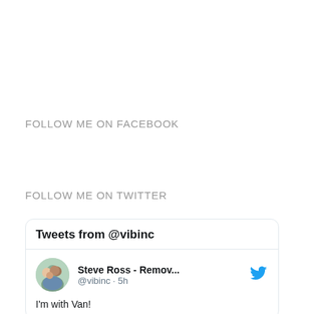FOLLOW ME ON FACEBOOK
FOLLOW ME ON TWITTER
[Figure (screenshot): Twitter widget showing 'Tweets from @vibinc' with a tweet by Steve Ross - Remov... (@vibinc · 5h) saying "I'm with Van!"]